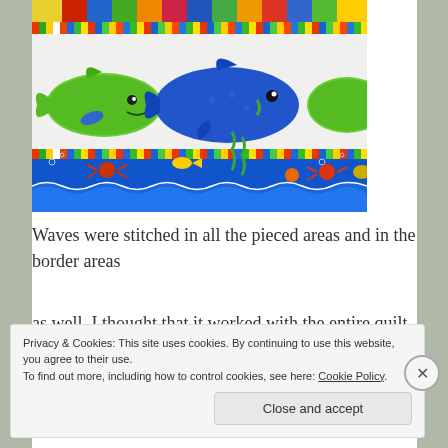[Figure (photo): Photo of a quilt with whale fabric panels. Top section shows colorful patchwork squares with multicolored stripes. Middle section shows white fabric with green and blue whale appliques on a white background. Bottom section shows blue ocean-themed fabric with sea creatures, waves, starfish, crabs, and underwater animals.]
Waves were stitched in all the pieced areas and in the border areas
as well. I thought that it worked with the entire quilt.
Privacy & Cookies: This site uses cookies. By continuing to use this website, you agree to their use.
To find out more, including how to control cookies, see here: Cookie Policy